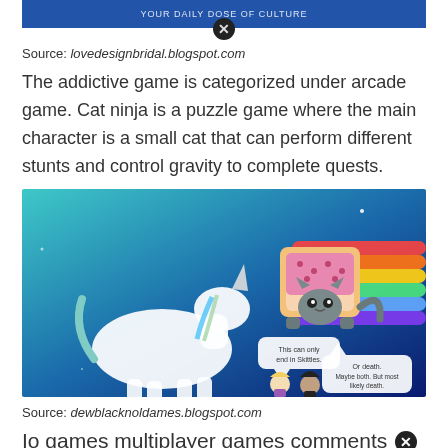[Figure (screenshot): Blue banner image strip with white text (partially visible), with a circular close/X button overlay at bottom center]
Source: lovedesignbridal.blogspot.com
The addictive game is categorized under arcade game. Cat ninja is a puzzle game where the main character is a small cat that can perform different stunts and control gravity to complete quests.
[Figure (illustration): Nyan Cat illustration showing a cat with a Pop-Tart body flying through space with a rainbow trail, alongside a unicorn. Two characters below have speech bubbles reading 'This can only end in Skittles.' and 'Or death. Maybe both. But most likely death.']
Source: dewblacknoldames.blogspot.com
Io games multiplayer games comments